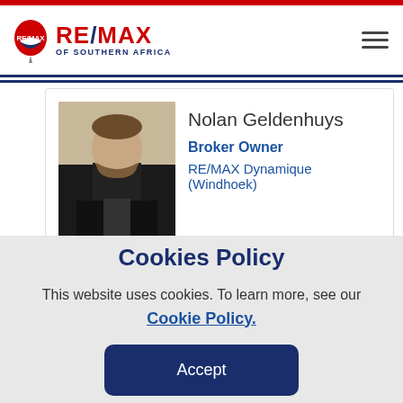RE/MAX OF SOUTHERN AFRICA
[Figure (photo): Headshot photo of Nolan Geldenhuys, a man wearing a black jacket, against a light background]
Nolan Geldenhuys
Broker Owner
RE/MAX Dynamique (Windhoek)
Show email
Show number  Show number
Book a viewing
Cookies Policy
This website uses cookies. To learn more, see our
Cookie Policy.
Accept